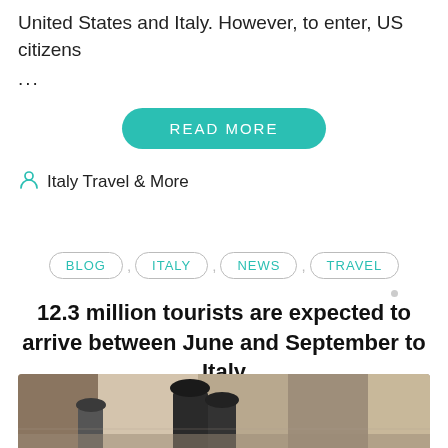United States and Italy. However, to enter, US citizens
...
READ MORE
Italy Travel & More
BLOG , ITALY , NEWS , TRAVEL
12.3 million tourists are expected to arrive between June and September to Italy
[Figure (photo): Street scene in an Italian city with tourists walking in a narrow alley, buildings with warm stone tones, people wearing hats]